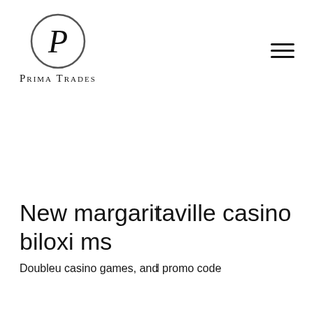[Figure (logo): Prima Trades logo: circle with letter P inside, and text PRIMA TRADES below in small caps]
New margaritaville casino biloxi ms
Doubleu casino games, and promo code